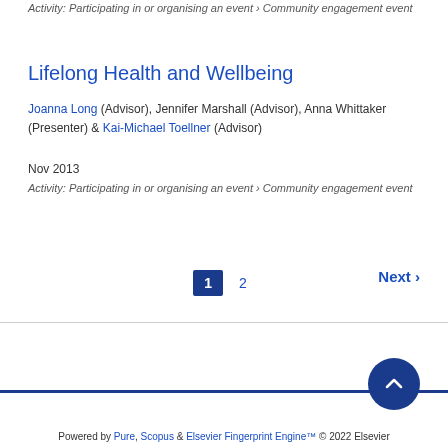Activity: Participating in or organising an event › Community engagement event
Lifelong Health and Wellbeing
Joanna Long (Advisor), Jennifer Marshall (Advisor), Anna Whittaker (Presenter) & Kai-Michael Toellner (Advisor)
Nov 2013
Activity: Participating in or organising an event › Community engagement event
1  2  Next »
Powered by Pure, Scopus & Elsevier Fingerprint Engine™ © 2022 Elsevier